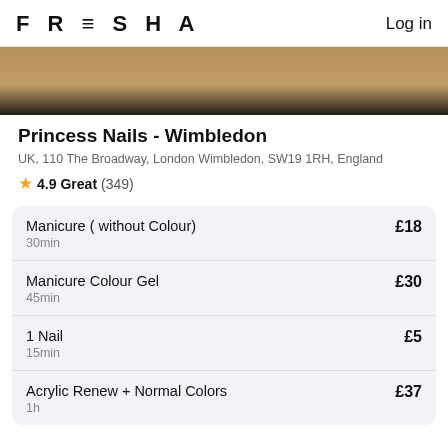FRESHA   Log in
[Figure (photo): Interior photo of Princess Nails salon showing wooden floor and salon chairs]
Princess Nails - Wimbledon
UK, 110 The Broadway, London Wimbledon, SW19 1RH, England
★ 4.9 Great (349)
Manicure ( without Colour)  30min  £18
Manicure Colour Gel  45min  £30
1 Nail  15min  £5
Acrylic Renew + Normal Colors  1h  £37